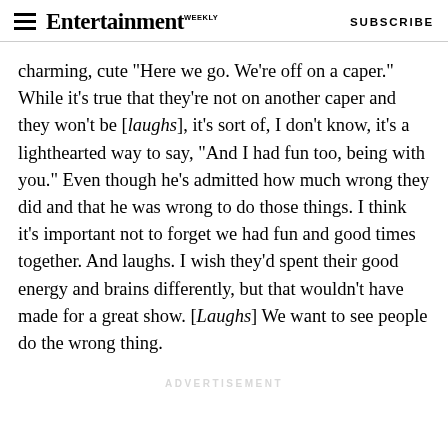Entertainment Weekly  SUBSCRIBE
charming, cute "Here we go. We're off on a caper." While it's true that they're not on another caper and they won't be [laughs], it's sort of, I don't know, it's a lighthearted way to say, "And I had fun too, being with you." Even though he's admitted how much wrong they did and that he was wrong to do those things. I think it's important not to forget we had fun and good times together. And laughs. I wish they'd spent their good energy and brains differently, but that wouldn't have made for a great show. [Laughs] We want to see people do the wrong thing.